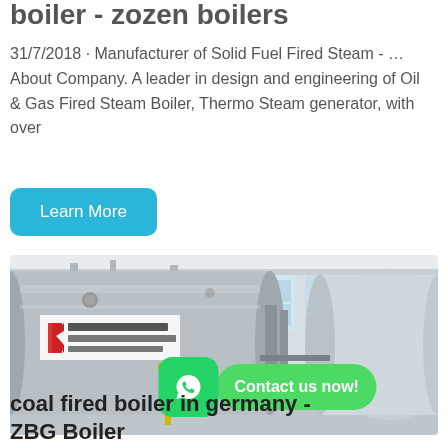boiler - zozen boilers
31/7/2018 · Manufacturer of Solid Fuel Fired Steam - … About Company. A leader in design and engineering of Oil & Gas Fired Steam Boiler, Thermo Steam generator, with over
Learn More
[Figure (photo): Industrial boiler facility showing large cylindrical steel boilers with Chinese manufacturer branding (方快锅炉) in a white industrial building, with WhatsApp contact button overlay]
coal fired boiler in germany - ZBG Boiler